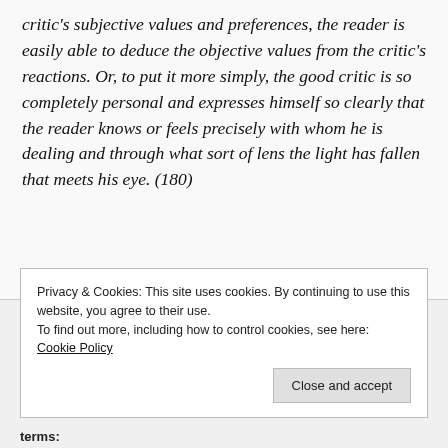critic's subjective values and preferences, the reader is easily able to deduce the objective values from the critic's reactions.  Or, to put it more simply, the good critic is so completely personal and expresses himself so clearly that the reader knows or feels precisely with whom he is dealing and through what sort of lens the light has fallen that meets his eye. (180)
Privacy & Cookies: This site uses cookies. By continuing to use this website, you agree to their use.
To find out more, including how to control cookies, see here: Cookie Policy
terms: